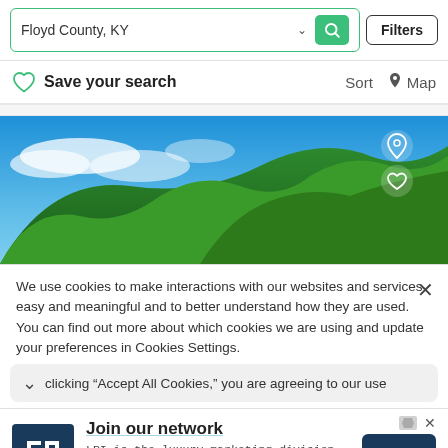Floyd County, KY — Filters
Save your search   Sort   Map
[Figure (photo): Scenic outdoor photo showing lush green trees against a bright blue sky with white clouds. Location pin and heart icons visible in top-right area of image.]
We use cookies to make interactions with our websites and services easy and meaningful and to better understand how they are used. You can find out more about which cookies we are using and update your preferences in Cookies Settings. clicking “Accept All Cookies,” you are agreeing to our use
Join our network
LPI is the luxury marketing division of Leading Real Estate Companies of the World® Luxury Portfolio Int.